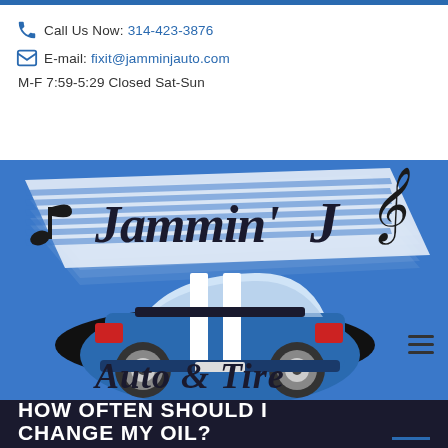Call Us Now: 314-423-3876
E-mail: fixit@jamminjauto.com
M-F 7:59-5:29 Closed Sat-Sun
[Figure (logo): Jammin' J Auto & Tire logo featuring a blue classic muscle car (rear view) on a black oval, with musical notes and a treble clef, on a blue background]
HOW OFTEN SHOULD I CHANGE MY OIL?